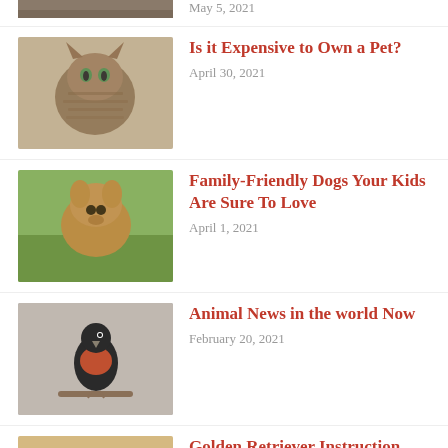[Figure (photo): Partial thumbnail of an animal photo at the top, cropped]
May 5, 2021
[Figure (photo): Bengal cat sitting, tabby markings]
Is it Expensive to Own a Pet?
April 30, 2021
[Figure (photo): Brown puppy dog looking at camera]
Family-Friendly Dogs Your Kids Are Sure To Love
April 1, 2021
[Figure (photo): Small bird with orange-red chest perched on a stick]
Animal News in the world Now
February 20, 2021
[Figure (photo): Golden retriever puppies being held]
Golden Retriever Instruction Strategies For Negative Dog Behavior
February 18, 2021